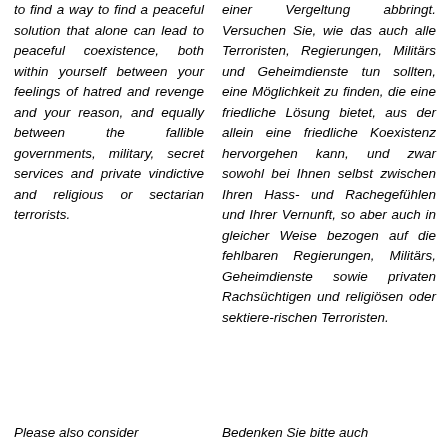to find a way to find a peaceful solution that alone can lead to peaceful coexistence, both within yourself between your feelings of hatred and revenge and your reason, and equally between the fallible governments, military, secret services and private vindictive and religious or sectarian terrorists.
einer Vergeltung abbringt. Versuchen Sie, wie das auch alle Terroristen, Regierungen, Militärs und Geheimdienste tun sollten, eine Möglichkeit zu finden, die eine friedliche Lösung bietet, aus der allein eine friedliche Koexistenz hervorgehen kann, und zwar sowohl bei Ihnen selbst zwischen Ihren Hass- und Rachegefühlen und Ihrer Vernunft, so aber auch in gleicher Weise bezogen auf die fehlbaren Regierungen, Militärs, Geheimdienste sowie privaten Rachsüchtigen und religiösen oder sektiere-rischen Terroristen.
Please also consider
Bedenken Sie bitte auch